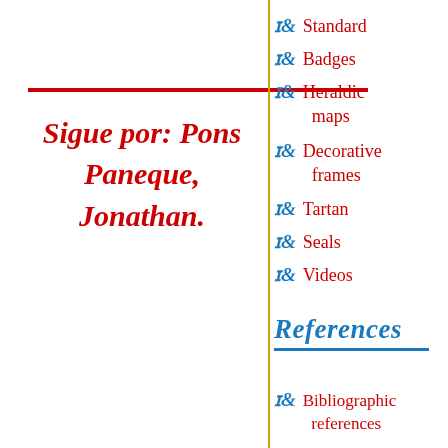Sigue por: Pons Paneque, Jonathan.
Standard
Badges
Heraldic maps
Decorative frames
Tartan
Seals
Videos
References
Bibliographic references